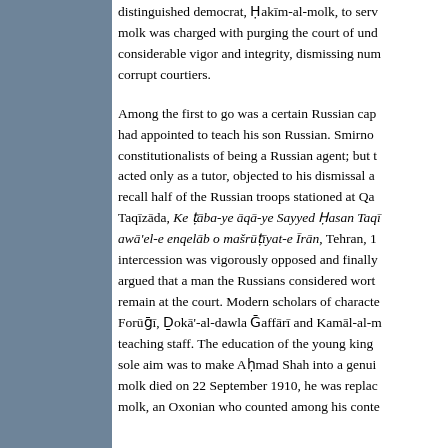[Figure (other): Gray-blue sidebar panel on the left side of the page]
distinguished democrat, Ḥakīm-al-molk, to serve. Ḥakīm-al-molk was charged with purging the court of undesirables with considerable vigor and integrity, dismissing numerous corrupt courtiers.

Among the first to go was a certain Russian captain whom he had appointed to teach his son Russian. Smirnov was accused by constitutionalists of being a Russian agent; but the Russians, who acted only as a tutor, objected to his dismissal and threatened to recall half of the Russian troops stationed at Qazvin. Citing Taqīzāda, Ke ṭāba-ye āqā-ye Sayyed Ḥasan Taqī awā'el-e enqelāb o mašrūṭīyat-e Īrān, Tehran, 1... intercession was vigorously opposed and finally discarded, who argued that a man the Russians considered worth defending must remain at the court. Modern scholars of character including Forūḡī, Ḏokā'-al-dawla Ḡaffārī and Kamāl-al-n... teaching staff. The education of the young king whose sole aim was to make Aḥmad Shah into a genuine... molk died on 22 September 1910, he was replaced... molk, an Oxonian who counted among his contemporary...